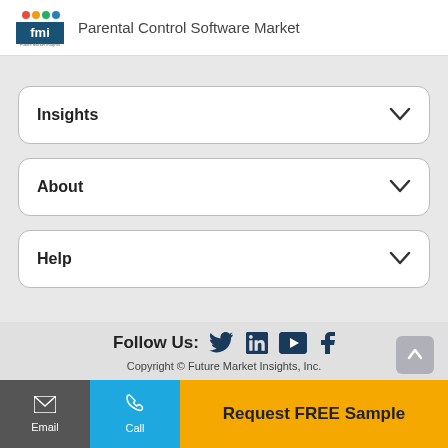Parental Control Software Market
Insights
About
Help
Follow Us:
Copyright © Future Market Insights, Inc.
Email
Call
Request FREE Sample